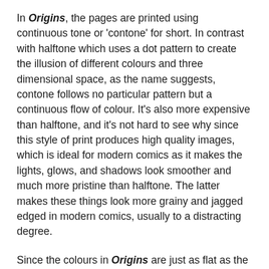In Origins, the pages are printed using continuous tone or 'contone' for short. In contrast with halftone which uses a dot pattern to create the illusion of different colours and three dimensional space, as the name suggests, contone follows no particular pattern but a continuous flow of colour. It's also more expensive than halftone, and it's not hard to see why since this style of print produces high quality images, which is ideal for modern comics as it makes the lights, glows, and shadows look smoother and much more pristine than halftone. The latter makes these things look more grainy and jagged edged in modern comics, usually to a distracting degree.
Since the colours in Origins are just as flat as the original Darknight Daughter trade, the only thing that truly makes the print stand out from the latter book is that the higher quality of this print produces more vibrant, solid colours than halftone. Because halftone is limited to only four colours per dot, you lose some of the details in the colour whereas contone preserves them.
On the whole, there's really no significant difference in the